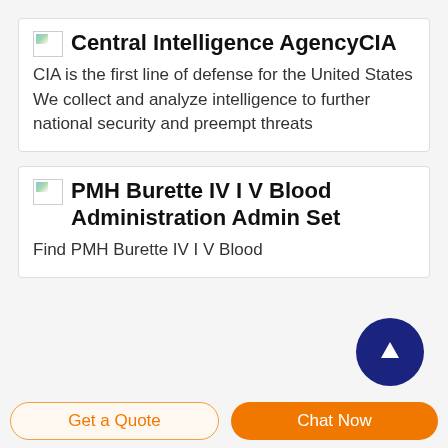Central Intelligence AgencyCIA
CIA is the first line of defense for the United States We collect and analyze intelligence to further national security and preempt threats
PMH Burette IV I V Blood Administration Admin Set
Find PMH Burette IV I V Blood
[Figure (other): Dark navy circular button with white upward arrow icon (scroll to top / back to top button)]
Get a Quote
Chat Now